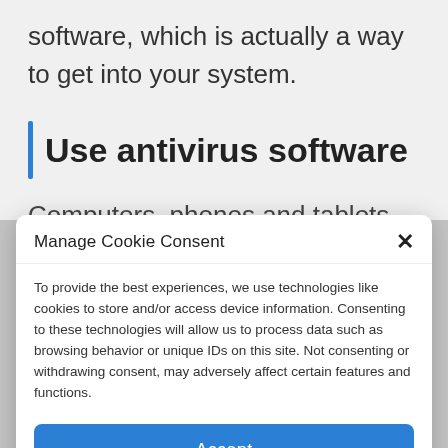software, which is actually a way to get into your system.
Use antivirus software
Computers, phones and tablets have built-in
Manage Cookie Consent
To provide the best experiences, we use technologies like cookies to store and/or access device information. Consenting to these technologies will allow us to process data such as browsing behavior or unique IDs on this site. Not consenting or withdrawing consent, may adversely affect certain features and functions.
Accept